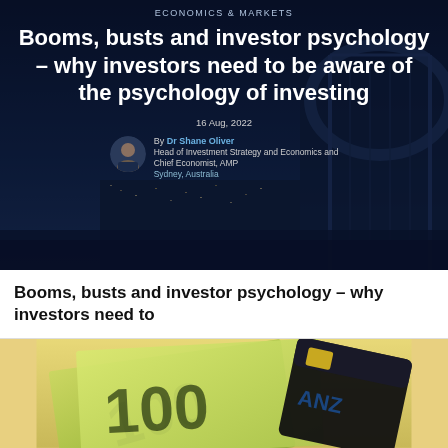[Figure (photo): Dark night-time cityscape background (Sydney Harbour Bridge) with overlay text. Shows category label, article title in white bold text, date, and author information with avatar photo.]
ECONOMICS & MARKETS
Booms, busts and investor psychology – why investors need to be aware of the psychology of investing
16 Aug, 2022
By Dr Shane Oliver
Head of Investment Strategy and Economics and Chief Economist, AMP
Sydney, Australia
Booms, busts and investor psychology – why investors need to
[Figure (photo): Close-up photo of Australian $100 banknotes fanned out alongside a black ANZ bank card/wallet.]